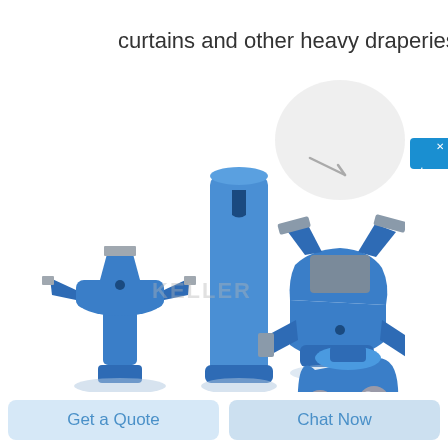curtains and other heavy draperies
[Figure (photo): Product photo showing four blue industrial drill bits/rock drilling tools with gray/silver carbide inserts arranged on a white background. A watermark reading 'KELLER' is visible in the center. Partially visible items include a tapered shank, two chisel/cross-bit style drill buttons, and one roller cone bit.]
在线咨询
Get a Quote
Chat Now